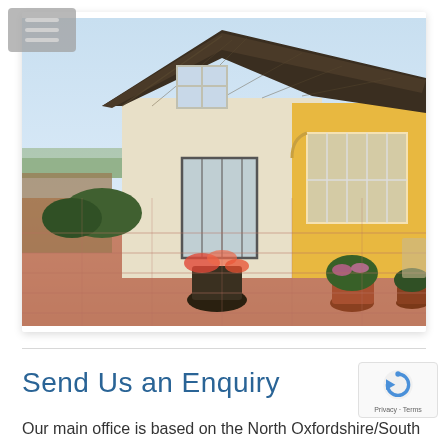[Figure (photo): A yellow thatched-roof house with large glass doors and windows, surrounded by potted flowers and a red brick paved terrace, with a scenic view in the background.]
Send Us an Enquiry
[Figure (logo): reCAPTCHA badge showing the reCAPTCHA icon with 'Privacy · Terms' text]
Our main office is based on the North Oxfordshire/South